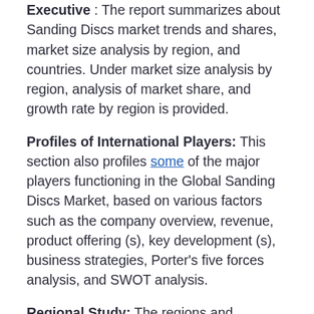Executive: The report summarizes about Sanding Discs market trends and shares, market size analysis by region, and countries. Under market size analysis by region, analysis of market share, and growth rate by region is provided.
Profiles of International Players: This section also profiles some of the major players functioning in the Global Sanding Discs Market, based on various factors such as the company overview, revenue, product offering (s), key development (s), business strategies, Porter's five forces analysis, and SWOT analysis.
Regional Study: The regions and countries mentioned in this research study have been studied based on the market size, regional dominance...